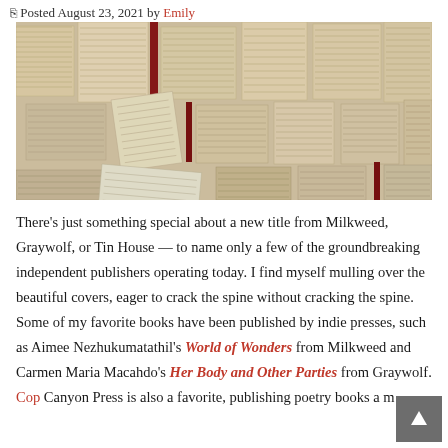Posted August 23, 2021 by Emily
[Figure (photo): Overhead view of many open books with pages spread out, arranged in a collage-like pattern with warm beige tones and occasional red book spines visible]
There's just something special about a new title from Milkweed, Graywolf, or Tin House — to name only a few of the groundbreaking independent publishers operating today. I find myself mulling over the beautiful covers, eager to crack the spine without cracking the spine. Some of my favorite books have been published by indie presses, such as Aimee Nezhukumatathil's World of Wonders from Milkweed and Carmen Maria Macahdo's Her Body and Other Parties from Graywolf. Copper Canyon Press is also a favorite, publishing poetry books a m